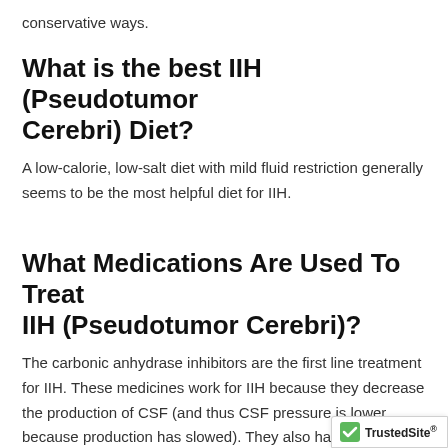conservative ways.
What is the best IIH (Pseudotumor Cerebri) Diet?
A low-calorie, low-salt diet with mild fluid restriction generally seems to be the most helpful diet for IIH.
What Medications Are Used To Treat IIH (Pseudotumor Cerebri)?
The carbonic anhydrase inhibitors are the first line treatment for IIH. These medicines work for IIH because they decrease the production of CSF (and thus CSF pressure is lower because production has slowed). They also have a mild diure